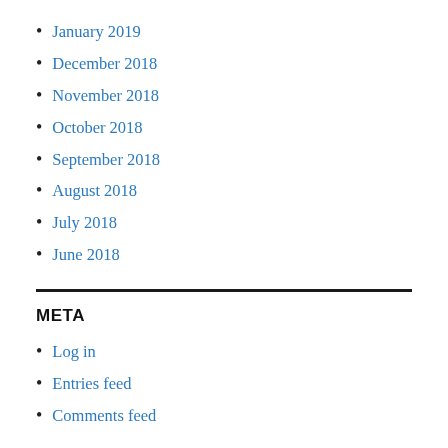January 2019
December 2018
November 2018
October 2018
September 2018
August 2018
July 2018
June 2018
META
Log in
Entries feed
Comments feed